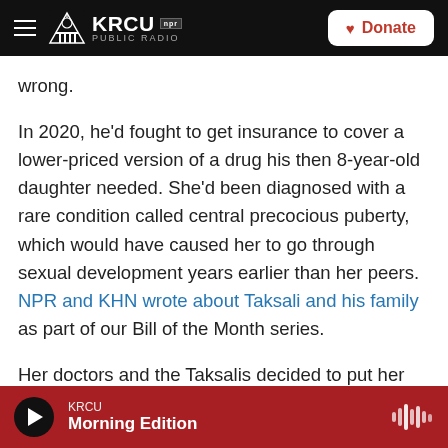KRCU NPR PUBLIC RADIO | Donate
wrong.
In 2020, he'd fought to get insurance to cover a lower-priced version of a drug his then 8-year-old daughter needed. She'd been diagnosed with a rare condition called central precocious puberty, which would have caused her to go through sexual development years earlier than her peers. NPR and KHN wrote about Taksali and his family as part of our Bill of the Month series.
Her doctors and the Taksalis decided to put her puberty on pause with a hormone-blocking drug
KRCU Morning Edition